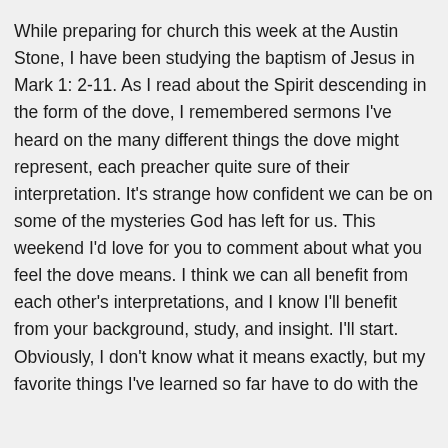While preparing for church this week at the Austin Stone, I have been studying the baptism of Jesus in Mark 1: 2-11. As I read about the Spirit descending in the form of the dove, I remembered sermons I've heard on the many different things the dove might represent, each preacher quite sure of their interpretation. It's strange how confident we can be on some of the mysteries God has left for us. This weekend I'd love for you to comment about what you feel the dove means. I think we can all benefit from each other's interpretations, and I know I'll benefit from your background, study, and insight. I'll start. Obviously, I don't know what it means exactly, but my favorite things I've learned so far have to do with the